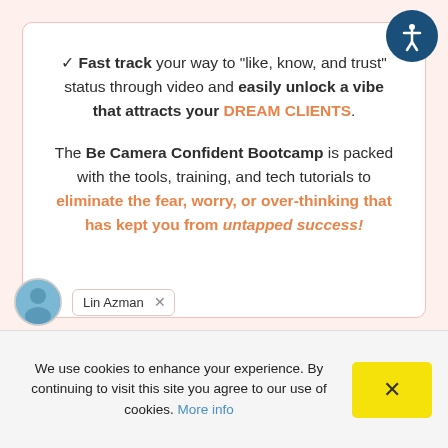✓ Fast track your way to "like, know, and trust" status through video and easily unlock a vibe that attracts your DREAM CLIENTS.
The Be Camera Confident Bootcamp is packed with the tools, training, and tech tutorials to eliminate the fear, worry, or over-thinking that has kept you from untapped success!
Lin Azman
We use cookies to enhance your experience. By continuing to visit this site you agree to our use of cookies. More info